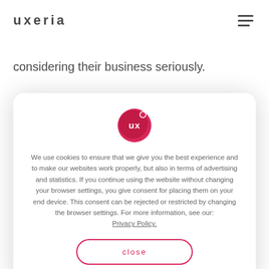uxeria
considering their business seriously.
[Figure (screenshot): Cookie consent modal dialog with uxeria logo, cookie policy text, and a close button. Text reads: We use cookies to ensure that we give you the best experience and to make our websites work properly, but also in terms of advertising and statistics. If you continue using the website without changing your browser settings, you give consent for placing them on your end device. This consent can be rejected or restricted by changing the browser settings. For more information, see our: Privacy Policy. Button: close]
will be able to easily respond to the needs of the